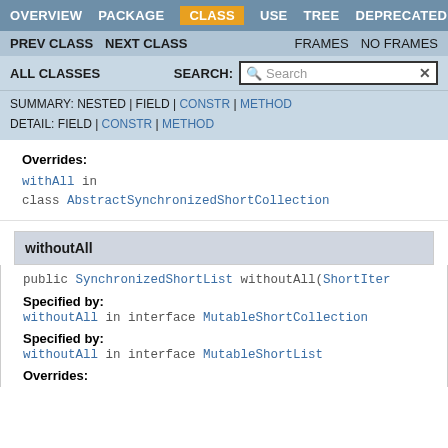OVERVIEW  PACKAGE  CLASS  USE  TREE  DEPRECATED
PREV CLASS  NEXT CLASS  FRAMES  NO FRAMES
ALL CLASSES  SEARCH:
SUMMARY: NESTED | FIELD | CONSTR | METHOD  DETAIL: FIELD | CONSTR | METHOD
Overrides:
withAll in class AbstractSynchronizedShortCollection
withoutAll
public SynchronizedShortList withoutAll(ShortIter
Specified by:
withoutAll in interface MutableShortCollection
Specified by:
withoutAll in interface MutableShortList
Overrides: